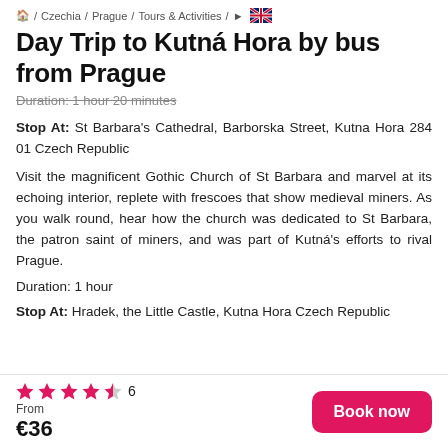🏠 / Czechia / Prague / Tours & Activities / ► 🇬🇧
Day Trip to Kutná Hora by bus from Prague
Duration: 1 hour 20 minutes
Stop At: St Barbara's Cathedral, Barborska Street, Kutna Hora 284 01 Czech Republic
Visit the magnificent Gothic Church of St Barbara and marvel at its echoing interior, replete with frescoes that show medieval miners. As you walk round, hear how the church was dedicated to St Barbara, the patron saint of miners, and was part of Kutná's efforts to rival Prague.
Duration: 1 hour
Stop At: Hradek, the Little Castle, Kutna Hora Czech Republic